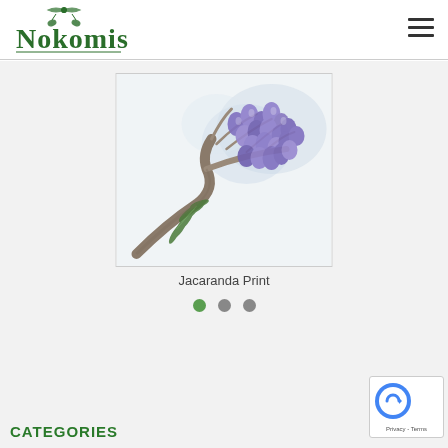[Figure (logo): Nokomis logo with decorative botanical/fleur-de-lis emblem and stylized green text]
[Figure (illustration): Botanical illustration of a Jacaranda branch with purple bell-shaped flowers and fern-like green leaves on a light watercolor background]
Jacaranda Print
CATEGORIES